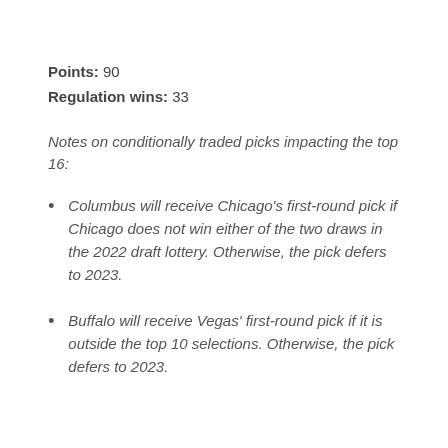Points: 90
Regulation wins: 33
Notes on conditionally traded picks impacting the top 16:
Columbus will receive Chicago's first-round pick if Chicago does not win either of the two draws in the 2022 draft lottery. Otherwise, the pick defers to 2023.
Buffalo will receive Vegas' first-round pick if it is outside the top 10 selections. Otherwise, the pick defers to 2023.